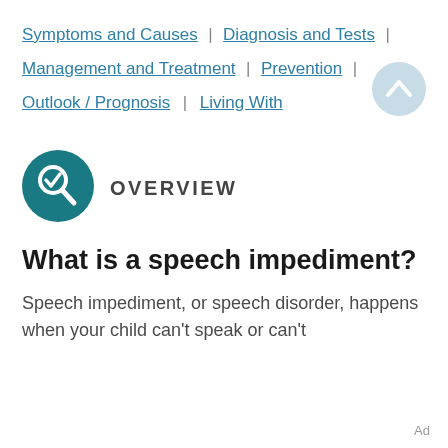Symptoms and Causes | Diagnosis and Tests | Management and Treatment | Prevention | Outlook / Prognosis | Living With
[Figure (illustration): Teal circular magnifying glass icon with a checkmark, representing an overview section marker]
OVERVIEW
What is a speech impediment?
Speech impediment, or speech disorder, happens when your child can't speak or can't